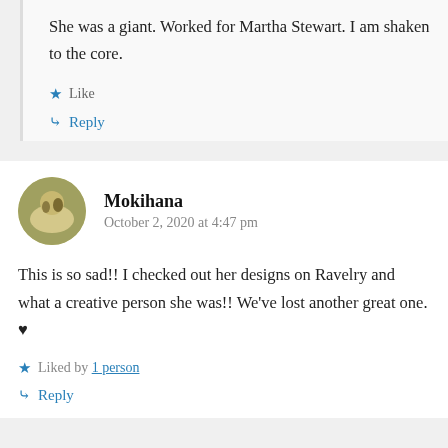She was a giant. Worked for Martha Stewart. I am shaken to the core.
Like
Reply
Mokihana
October 2, 2020 at 4:47 pm
This is so sad!! I checked out her designs on Ravelry and what a creative person she was!! We've lost another great one. ♥
Liked by 1 person
Reply